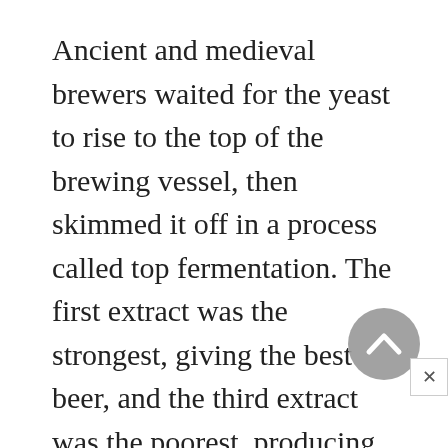Ancient and medieval brewers waited for the yeast to rise to the top of the brewing vessel, then skimmed it off in a process called top fermentation. The first extract was the strongest, giving the best beer, and the third extract was the poorest, producing what was called small beer. Top-fermented beers, typical of British beers, were known as ales. Another fermenting process, in which the yeast sank to the bottom of the brewing vat, produced